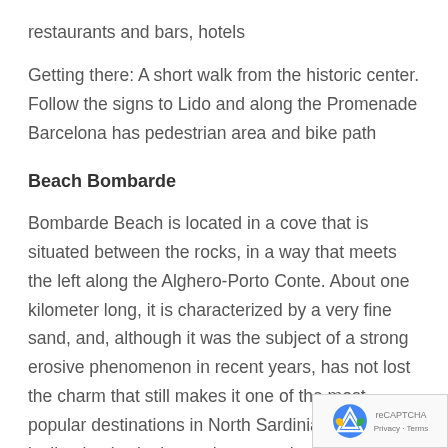restaurants and bars, hotels
Getting there: A short walk from the historic center. Follow the signs to Lido and along the Promenade Barcelona has pedestrian area and bike path
Beach Bombarde
Bombarde Beach is located in a cove that is situated between the rocks, in a way that meets the left along the Alghero-Porto Conte. About one kilometer long, it is characterized by a very fine sand, and, although it was the subject of a strong erosive phenomenon in recent years, has not lost the charm that still makes it one of the most popular destinations in North Sardinia. The inclination is sloping to the water that becomes hi